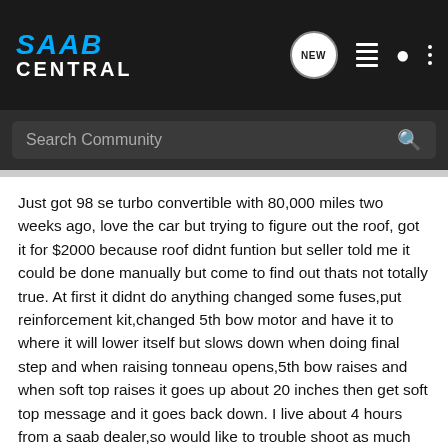SAAB CENTRAL
Search Community
Just got 98 se turbo convertible with 80,000 miles two weeks ago, love the car but trying to figure out the roof, got it for $2000 because roof didnt funtion but seller told me it could be done manually but come to find out thats not totally true. At first it didnt do anything changed some fuses,put reinforcement kit,changed 5th bow motor and have it to where it will lower itself but slows down when doing final step and when raising tonneau opens,5th bow raises and when soft top raises it goes up about 20 inches then get soft top message and it goes back down. I live about 4 hours from a saab dealer,so would like to trouble shoot as much as possible before i make the trip,please,please help someone must know whats wrong and i need to get my wife of my back.